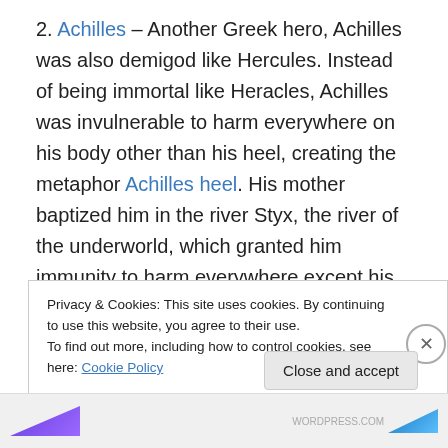2. Achilles – Another Greek hero, Achilles was also demigod like Hercules. Instead of being immortal like Heracles, Achilles was invulnerable to harm everywhere on his body other than his heel, creating the metaphor Achilles heel. His mother baptized him in the river Styx, the river of the underworld, which granted him immunity to harm everywhere except his heel, where she held him. Ultimately he died in the Trojan War, that grand battle to bring home the beautiful Helen of Troy to her native Sparta. Many warriors fought in this battle, some died; the cunning Odysseus, both Ajax the Great and Ajax the
Privacy & Cookies: This site uses cookies. By continuing to use this website, you agree to their use. To find out more, including how to control cookies, see here: Cookie Policy